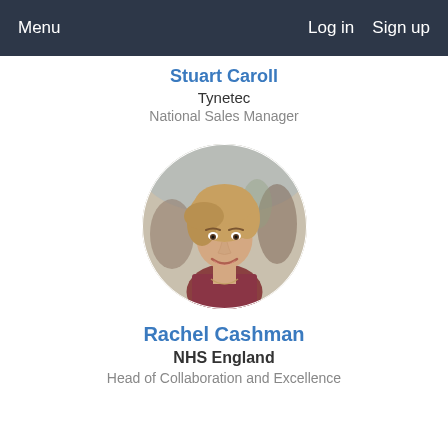Menu   Log in   Sign up
Stuart Caroll
Tynetec
National Sales Manager
[Figure (photo): Circular profile photo of a woman with short blonde hair, smiling, wearing a dark top with a necklace, outdoors with blurred background.]
Rachel Cashman
NHS England
Head of Collaboration and Excellence